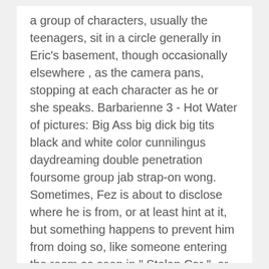a group of characters, usually the teenagers, sit in a circle generally in Eric's basement, though occasionally elsewhere , as the camera pans, stopping at each character as he or she speaks. Barbarienne 3 - Hot Water of pictures: Big Ass big dick big tits black and white color cunnilingus daydreaming double penetration foursome group jab strap-on wong. Sometimes, Fez is about to disclose where he is from, or at least hint at it, but something happens to prevent him from doing so, like someone entering the room as seen in " Stolen Car ", or Fez rambling in " Love of My Life ". Fez Gets Busted " Kelso paints Jackie and his names on the tower to annoy Hyde just before falling and ending up in the hospital. In times of trouble, he brings a toy light saber and his going-